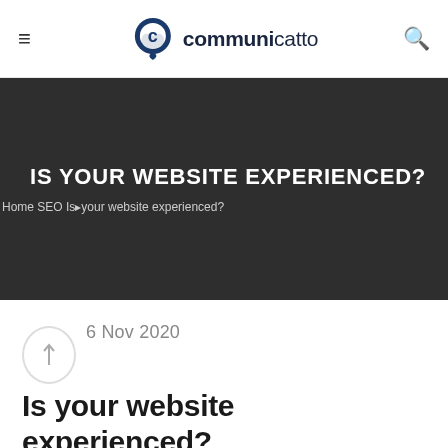communicatto
IS YOUR WEBSITE EXPERIENCED?
Home SEO Is your website experienced?
6 Nov 2020
Is your website experienced?
Posted at 15:30 in SEO, Social Media, Websites by Scott Payne